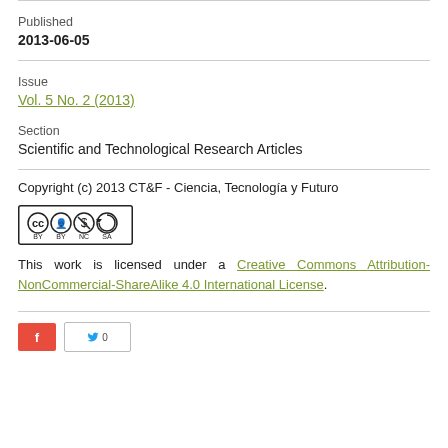Published
2013-06-05
Issue
Vol. 5 No. 2 (2013)
Section
Scientific and Technological Research Articles
Copyright (c) 2013 CT&F - Ciencia, Tecnología y Futuro
[Figure (logo): Creative Commons BY-NC-SA license badge]
This work is licensed under a Creative Commons Attribution-NonCommercial-ShareAlike 4.0 International License.